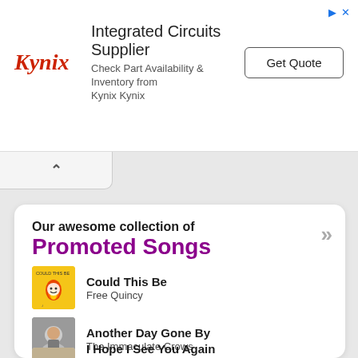[Figure (other): Kynix advertisement banner: Integrated Circuits Supplier, Check Part Availability & Inventory from Kynix Kynix, with Get Quote button]
Our awesome collection of
Promoted Songs
Could This Be — Free Quincy
Another Day Gone By — The Immaculate Crows
Olore — Olu Akande
I Hope I See You Again — Ayenn Legaqneur Stark